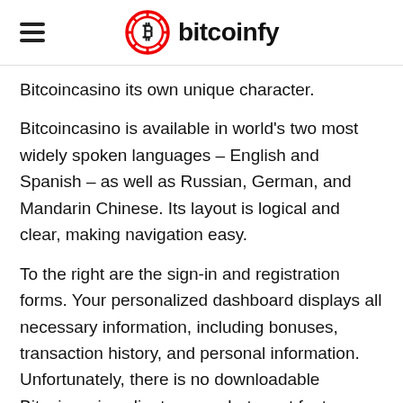bitcoinfy
Bitcoincasino its own unique character.
Bitcoincasino is available in world’s two most widely spoken languages – English and Spanish – as well as Russian, German, and Mandarin Chinese. Its layout is logical and clear, making navigation easy.
To the right are the sign-in and registration forms. Your personalized dashboard displays all necessary information, including bonuses, transaction history, and personal information. Unfortunately, there is no downloadable Bitcoincasino client or app, but most features are identical on the desktop and mob versions of the site.